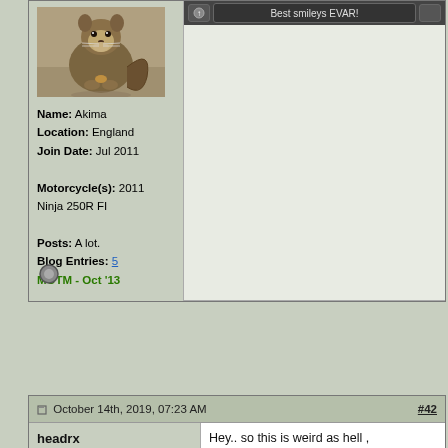[Figure (photo): Squirrel photo used as forum avatar]
Name: Akima
Location: England
Join Date: Jul 2011

Motorcycle(s): 2011 Ninja 250R FI

Posts: A lot.
Blog Entries: 5
MOTM - Oct '13
Best smileys EVAR!
October 14th, 2019, 07:23 AM  #42
headrx  Hey.. so this is weird as hell ,